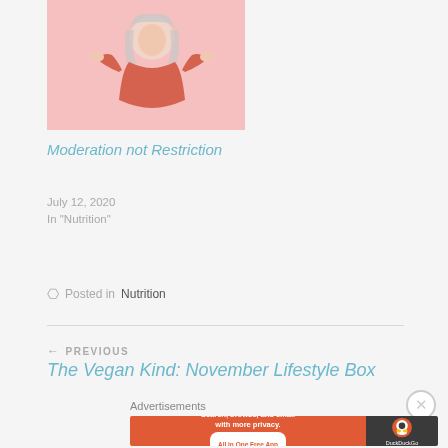[Figure (illustration): Blog post thumbnail image showing an illustrated woman with light hair in an orange/red jacket on a pink background]
Moderation not Restriction
July 12, 2020
In "Nutrition"
Posted in Nutrition
← PREVIOUS
The Vegan Kind: November Lifestyle Box
Advertisements
[Figure (screenshot): DuckDuckGo advertisement banner: Search, browse, and email with more privacy. All in One Free App. DuckDuckGo logo.]